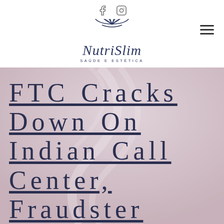[Figure (logo): NutriSlim Saúde e Estética logo with lotus flower emblem and script-style text, social media icons (Facebook, Instagram) above, hamburger menu icon to the right]
FTC Cracks Down On Indian Call Center, Fraudster